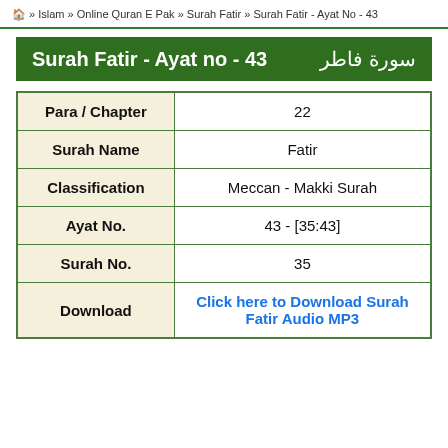🏠 » Islam » Online Quran E Pak » Surah Fatir » Surah Fatir - Ayat No - 43
Surah Fatir - Ayat no - 43  سورة فاطر
|  |  |
| --- | --- |
| Para / Chapter | 22 |
| Surah Name | Fatir |
| Classification | Meccan - Makki Surah |
| Ayat No. | 43 - [35:43] |
| Surah No. | 35 |
| Download | Click here to Download Surah Fatir Audio MP3 |